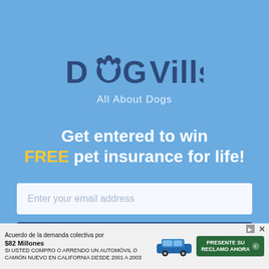[Figure (logo): DogVills logo with paw print replacing the letter o, dark navy blue text on light blue background, with tagline 'All About Dogs' below in light blue/white text]
Get entered to win FREE pet insurance for life!
Enter your email address
Get Entered!
Acuerdo de la demanda colectiva por $82 Millones SI USTED COMPRO O ARRENDO UN AUTOMÓVIL O CAMIÓN NUEVO EN CALIFORNIA DESDE 2001 A 2003 PRESENTE SU RECLAMO AHORA